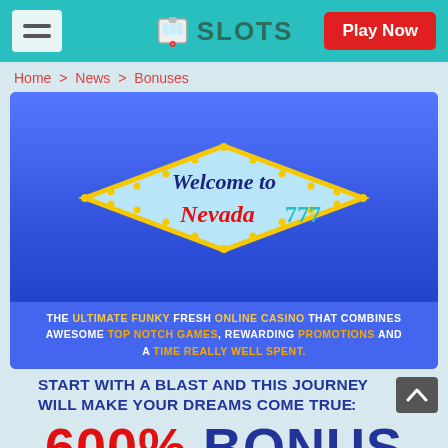SLOTS | Play Now
Home > News > Bonuses
[Figure (illustration): Welcome to Nevada777 casino promotional banner with Vegas-style diamond sign and tagline: THE ULTIMATE FUNKY FRESH ONLINE CASINO THAT COMBINES AWESOME TOP NOTCH GAMES, REWARDING PROMOTIONS AND A TIME REALLY WELL SPENT.]
START WITH A BLAST AND THIS JOURNEY WILL MAKE YOUR DREAMS COME TRUE:
600% BONUS